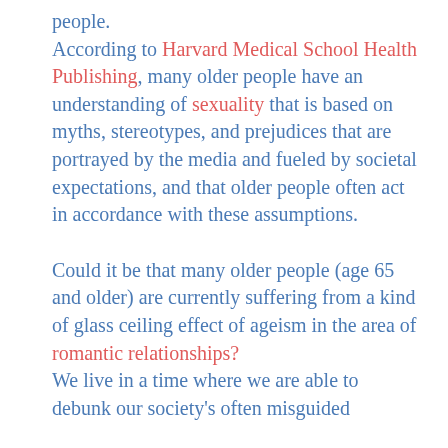people. According to Harvard Medical School Health Publishing, many older people have an understanding of sexuality that is based on myths, stereotypes, and prejudices that are portrayed by the media and fueled by societal expectations, and that older people often act in accordance with these assumptions.
Could it be that many older people (age 65 and older) are currently suffering from a kind of glass ceiling effect of ageism in the area of romantic relationships? We live in a time where we are able to debunk our society's often misguided